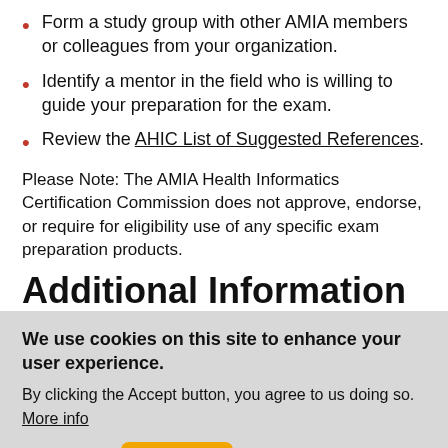Form a study group with other AMIA members or colleagues from your organization.
Identify a mentor in the field who is willing to guide your preparation for the exam.
Review the AHIC List of Suggested References.
Please Note: The AMIA Health Informatics Certification Commission does not approve, endorse, or require for eligibility use of any specific exam preparation products.
Additional Information
We use cookies on this site to enhance your user experience.
By clicking the Accept button, you agree to us doing so.
More info
No, thanks   Accept